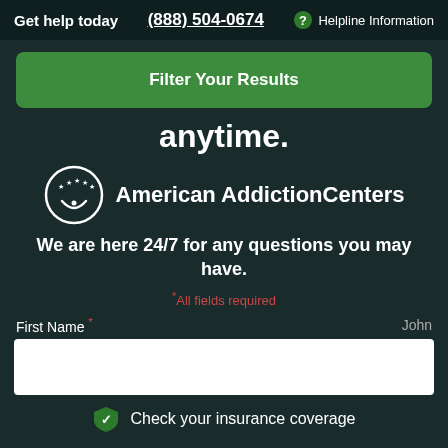Get help today  (888) 504-0674  ? Helpline Information
Filter Your Results
anytime.
[Figure (logo): American Addiction Centers logo: circular icon with stars and smile above text 'American AddictionCenters']
We are here 24/7 for any questions you may have.
*All fields required
First Name *  John
Check your insurance coverage